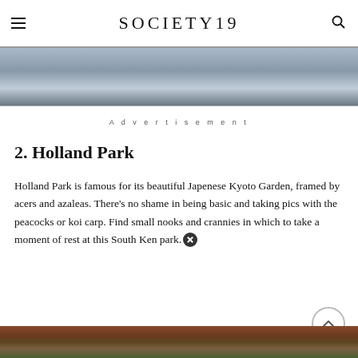SOCIETY19
[Figure (photo): Partially visible image of a pond or water reflection with trees, shown at the top of the article page.]
Advertisement
2. Holland Park
Holland Park is famous for its beautiful Japenese Kyoto Garden, framed by acers and azaleas. There’s no shame in being basic and taking pics with the peacocks or koi carp. Find small nooks and crannies in which to take a moment of rest at this South Ken park.
[Figure (photo): Partially visible image at the bottom of the page showing foliage with red and green colors, likely Holland Park garden.]